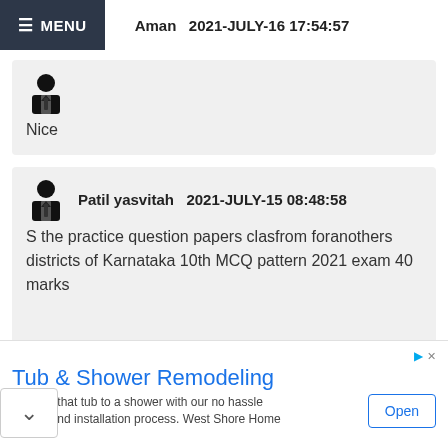≡ MENU   Aman  2021-JULY-16 17:54:57
Nice
Patil yasvitah  2021-JULY-15 08:48:58
S the practice question papers clasfrom foranothers districts of Karnataka 10th MCQ pattern 2021 exam 40 marks
Ajay  2021-JULY-10 15:13:43
Tub & Shower Remodeling
Convert that tub to a shower with our no hassle design and installation process. West Shore Home